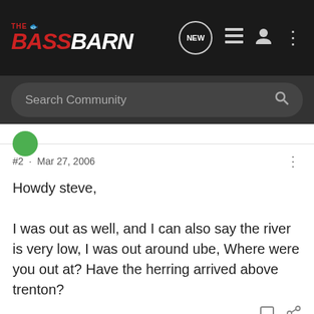[Figure (screenshot): The Bass Barn forum website header with logo, navigation icons (NEW bubble, list icon, user icon, dots menu), and a dark search bar with 'Search Community' placeholder.]
#2 · Mar 27, 2006
Howdy steve,

I was out as well, and I can also say the river is very low, I was out around ube, Where were you out at? Have the herring arrived above trenton?
Stevelondon · Registered
Joined Dec 24, 2004 · 994 Posts